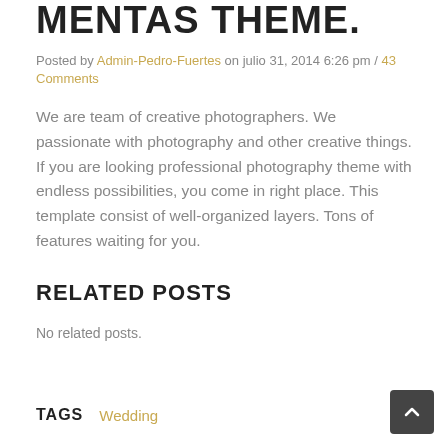MENTAS THEME.
Posted by Admin-Pedro-Fuertes on julio 31, 2014 6:26 pm / 43 Comments
We are team of creative photographers. We passionate with photography and other creative things. If you are looking professional photography theme with endless possibilities, you come in right place. This template consist of well-organized layers. Tons of features waiting for you.
RELATED POSTS
No related posts.
TAGS  Wedding